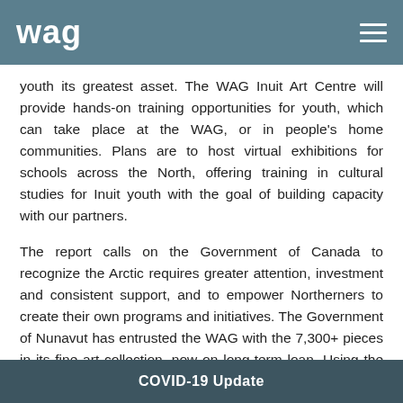wag
youth its greatest asset. The WAG Inuit Art Centre will provide hands-on training opportunities for youth, which can take place at the WAG, or in people’s home communities. Plans are to host virtual exhibitions for schools across the North, offering training in cultural studies for Inuit youth with the goal of building capacity with our partners.
The report calls on the Government of Canada to recognize the Arctic requires greater attention, investment and consistent support, and to empower Northerners to create their own programs and initiatives. The Government of Nunavut has entrusted the WAG with the 7,300+ pieces in its fine art collection, now on long-term loan. Using the collection, Nunavut and the WAG are working in partnership to create programs that will support arts and heritage workers, and artists in the North.
COVID-19 Update